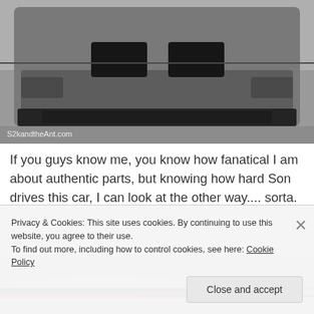[Figure (photo): Close-up of the front bumper and splitter of a silver/grey sports car (likely Nissan GT-R) in a garage. Shows carbon fiber or dark components on the front lip. Watermark reads S2kandtheAnt.com.]
If you guys know me, you know how fanatical I am about authentic parts, but knowing how hard Son drives this car, I can look at the other way.... sorta.
[Figure (photo): Partial view of what appears to be wiring or cables (red and black) on a floor or surface, partially cropped.]
Privacy & Cookies: This site uses cookies. By continuing to use this website, you agree to their use.
To find out more, including how to control cookies, see here: Cookie Policy
Close and accept